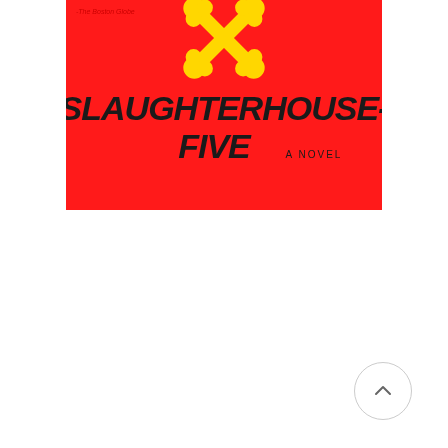[Figure (illustration): Book cover of Slaughterhouse-Five by Kurt Vonnegut. Red background with large bold black hand-lettered text reading 'SLAUGHTERHOUSE-FIVE' and 'A NOVEL'. Yellow crossbones graphic near top. Small red text at top left reading '-The Boston Globe'.]
[Figure (other): Circular scroll-to-top button with upward-pointing chevron arrow, white background with light gray border.]